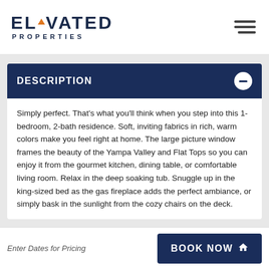ELEVATED PROPERTIES
DESCRIPTION
Simply perfect. That's what you'll think when you step into this 1-bedroom, 2-bath residence. Soft, inviting fabrics in rich, warm colors make you feel right at home. The large picture window frames the beauty of the Yampa Valley and Flat Tops so you can enjoy it from the gourmet kitchen, dining table, or comfortable living room. Relax in the deep soaking tub. Snuggle up in the king-sized bed as the gas fireplace adds the perfect ambiance, or simply bask in the sunlight from the cozy chairs on the deck.
Enter Dates for Pricing  BOOK NOW